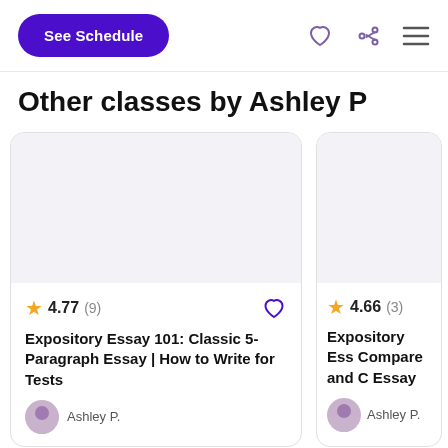[Figure (screenshot): Top navigation bar with 'See Schedule' purple button, heart icon, share icon, and hamburger menu icon]
Other classes by Ashley P
[Figure (screenshot): Course card 1: Rating 4.77 (9), Title: Expository Essay 101: Classic 5-Paragraph Essay | How to Write for Tests, Instructor: Ashley P]
[Figure (screenshot): Course card 2 (partially visible): Rating 4.66 (3), Title: Expository Ess... Compare and C... Essay, Instructor: Ashley P]